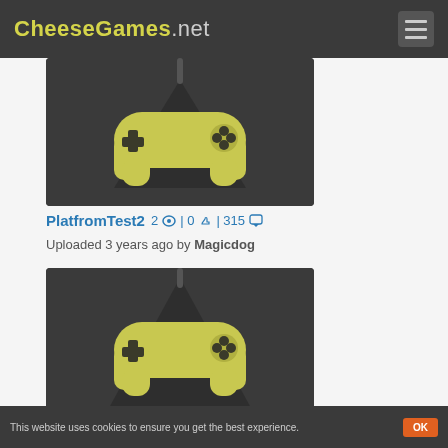CheeseGames.net
[Figure (screenshot): Game controller icon on dark background - thumbnail for PlatfromTest2]
PlatfromTest2   2 👁 | 0 👍 | 315 💬
Uploaded 3 years ago by Magicdog
[Figure (screenshot): Game controller icon on dark background - thumbnail for v]
v   2 👁 | 0 👍 | 315 💬
This website uses cookies to ensure you get the best experience.